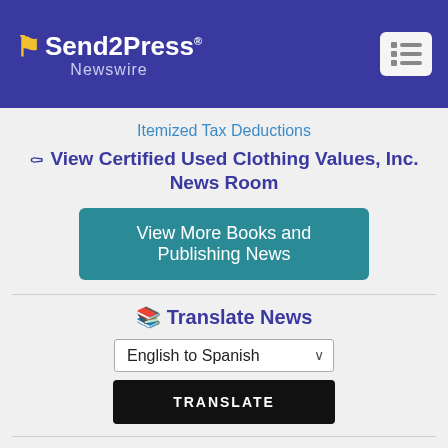Send2Press Newswire
Itemized Tax Deductions
View Certified Used Clothing Values, Inc. News Room
View More Books and Publishing News
Translate News
English to Spanish
TRANSLATE
More from Certified Used Clothing